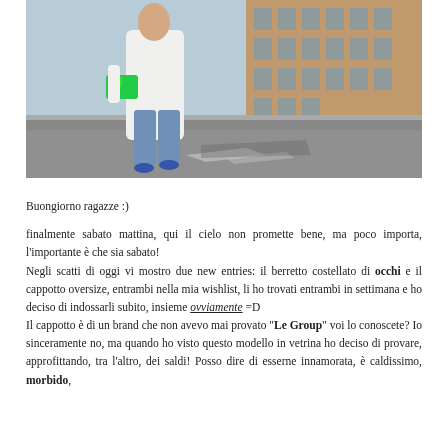[Figure (photo): Outdoor street photo of a woman walking on a road wearing light blue jeans, a white oversize coat, carrying a green clutch bag, with blue high heels. Background shows a building with wooden/orange facade and a street.]
Buongiorno ragazze :)
finalmente sabato mattina, qui il cielo non promette bene, ma poco importa, l'importante è che sia sabato!
Negli scatti di oggi vi mostro due new entries: il berretto costellato di occhi e il cappotto oversize, entrambi nella mia wishlist, li ho trovati entrambi in settimana e ho deciso di indossarli subito, insieme ovviamente =D
Il cappotto è di un brand che non avevo mai provato "Le Group" voi lo conoscete? Io sinceramente no, ma quando ho visto questo modello in vetrina ho deciso di provare, approfittando, tra l'altro, dei saldi! Posso dire di esserne innamorata, è caldissimo, morbido,